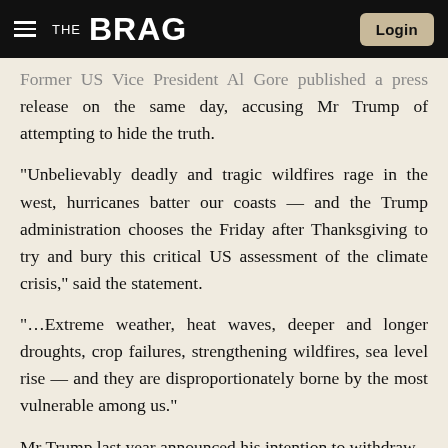THE BRAG | Login
Former US Vice President Al Gore published a press release on the same day, accusing Mr Trump of attempting to hide the truth.
“Unbelievably deadly and tragic wildfires rage in the west, hurricanes batter our coasts — and the Trump administration chooses the Friday after Thanksgiving to try and bury this critical US assessment of the climate crisis,” said the statement.
“…Extreme weather, heat waves, deeper and longer droughts, crop failures, strengthening wildfires, sea level rise — and they are disproportionately borne by the most vulnerable among us.”
Mr Trump last year announced his intention to withdraw